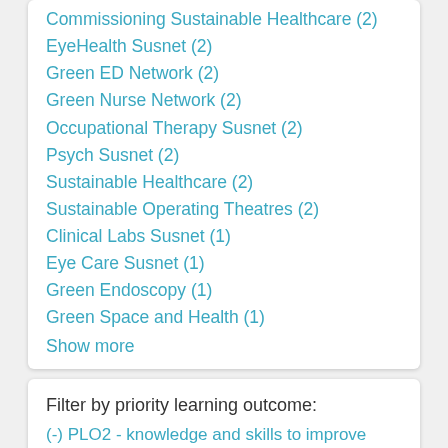Commissioning Sustainable Healthcare (2)
EyeHealth Susnet (2)
Green ED Network (2)
Green Nurse Network (2)
Occupational Therapy Susnet (2)
Psych Susnet (2)
Sustainable Healthcare (2)
Sustainable Operating Theatres (2)
Clinical Labs Susnet (1)
Eye Care Susnet (1)
Green Endoscopy (1)
Green Space and Health (1)
Show more
Filter by priority learning outcome:
(-) PLO2 - knowledge and skills to improve sustainability of health systems